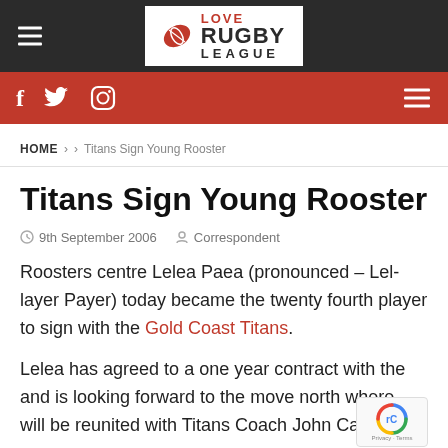Love Rugby League — site header with logo, hamburger menu, social icons
HOME > > Titans Sign Young Rooster
Titans Sign Young Rooster
9th September 2006  Correspondent
Roosters centre Lelea Paea (pronounced – Lel-layer Payer) today became the twenty fourth player to sign with the Gold Coast Titans.
Lelea has agreed to a one year contract with the and is looking forward to the move north where will be reunited with Titans Coach John Cartwright